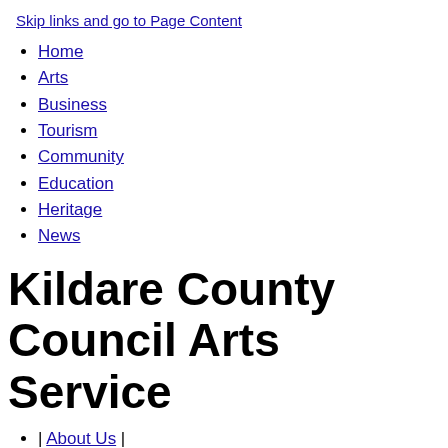Skip links and go to Page Content
Home
Arts
Business
Tourism
Community
Education
Heritage
News
Kildare County Council Arts Service
| About Us |
Contact |
Sitemap |
A-Z |